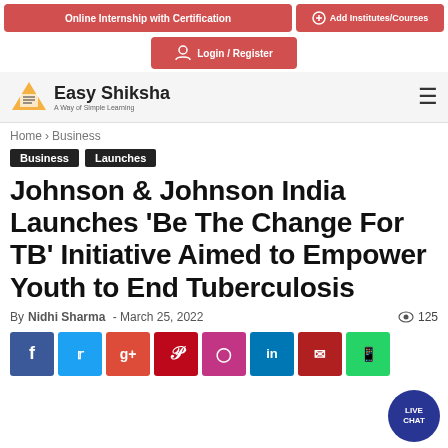Online Internship with Certification | Add Institutes/Courses
Login / Register
Easy Shiksha – A Way of Simple Learning
Home › Business
Business   Launches
Johnson & Johnson India Launches 'Be The Change For TB' Initiative Aimed to Empower Youth to End Tuberculosis
By Nidhi Sharma - March 25, 2022   125
[Figure (other): Social share buttons: Facebook, Twitter, Google+, Pinterest, Instagram, LinkedIn, Email, WhatsApp]